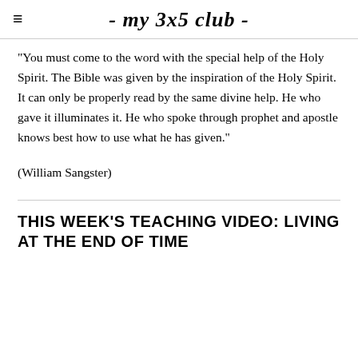- my 3x5 club -
"You must come to the word with the special help of the Holy Spirit. The Bible was given by the inspiration of the Holy Spirit. It can only be properly read by the same divine help. He who gave it illuminates it. He who spoke through prophet and apostle knows best how to use what he has given."
(William Sangster)
THIS WEEK'S TEACHING VIDEO: LIVING AT THE END OF TIME